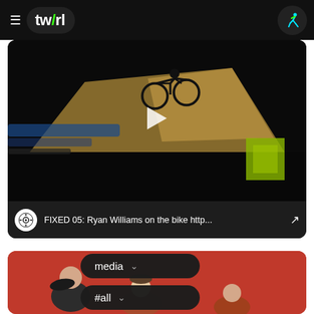[Figure (screenshot): Twirl app navigation bar with hamburger menu, 'tw/rl' logo in dark pill, and runner icon on right]
[Figure (screenshot): Video card showing BMX bike rider on ramp, with play button overlay and bottom info bar reading 'FIXED 05: Ryan Williams on the bike http...' with arrow icon]
[Figure (screenshot): Second card partially visible with red background showing people in hats, overlaid with dark rounded buttons labeled 'media' and '#all' with dropdown chevrons]